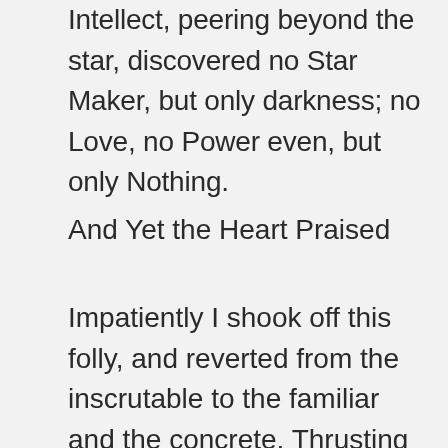Intellect, peering beyond the star, discovered no Star Maker, but only darkness; no Love, no Power even, but only Nothing.
And Yet the Heart Praised
Impatiently I shook off this folly, and reverted from the inscrutable to the familiar and the concrete. Thrusting aside worship, and fear also and bitterness, I determined to examine more coldly this remarkable “us,” this surprisingly inconceivable to me which was